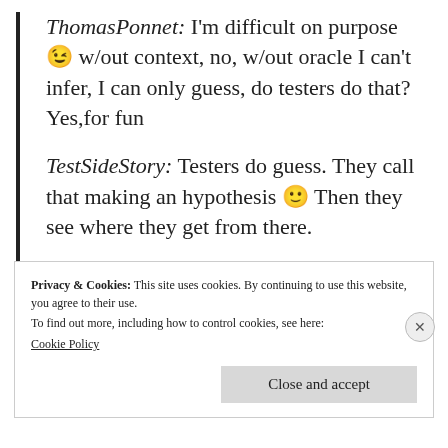ThomasPonnet: I'm difficult on purpose 😉 w/out context, no, w/out oracle I can't infer, I can only guess, do testers do that? Yes,for fun
TestSideStory: Testers do guess. They call that making an hypothesis 🙂 Then they see where they get from there.
Privacy & Cookies: This site uses cookies. By continuing to use this website, you agree to their use.
To find out more, including how to control cookies, see here:
Cookie Policy